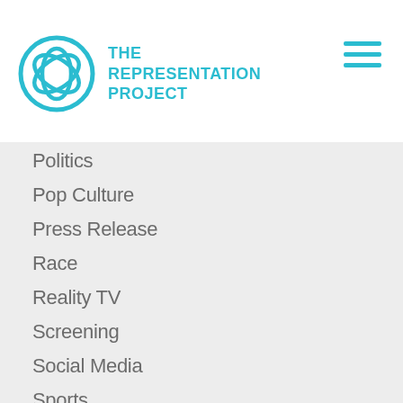[Figure (logo): The Representation Project logo with circular icon and teal text]
Politics
Pop Culture
Press Release
Race
Reality TV
Screening
Social Media
Sports
Take Action
Technology
Uncategorized